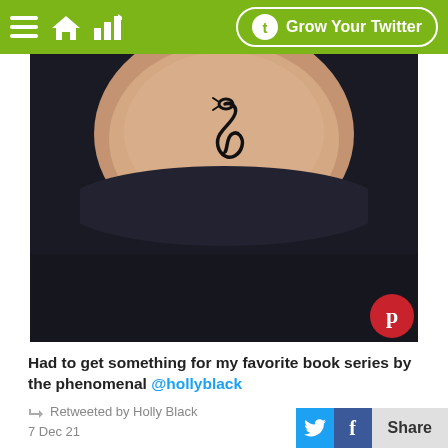Grow Your Twitter
[Figure (photo): Close-up photo of a person's shoulder/collarbone area with a snake tattoo, wearing a dark shirt. Dark background. Pinterest button overlay in bottom right corner.]
Had to get something for my favorite book series by the phenomenal @hollyblack
Retweeted by Holly Black
7 Dec 21